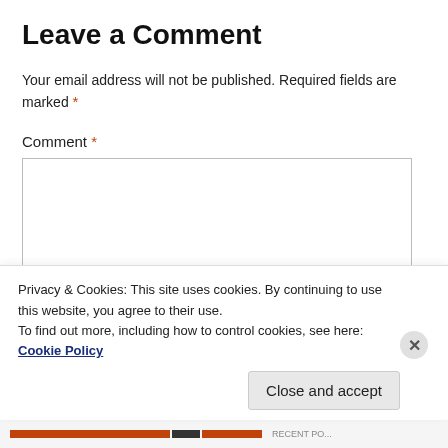Leave a Comment
Your email address will not be published. Required fields are marked *
Comment *
Privacy & Cookies: This site uses cookies. By continuing to use this website, you agree to their use.
To find out more, including how to control cookies, see here: Cookie Policy
Close and accept